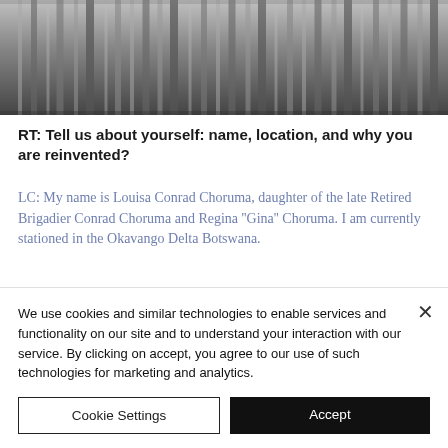[Figure (photo): Blurred dark photo banner showing vertical streaks, possibly bookshelves or curtains in grayscale]
RT: Tell us about yourself: name, location, and why you are reinvented?
LC: My name is Louisa Conrad Choruma, daughter of the late Retired Brigadier Conrad Choruma and Regina "Gina" Choruma. I am currently stationed in the Okavango Delta Botswana.
I chose to find loving after disappointment
We use cookies and similar technologies to enable services and functionality on our site and to understand your interaction with our service. By clicking on accept, you agree to our use of such technologies for marketing and analytics.